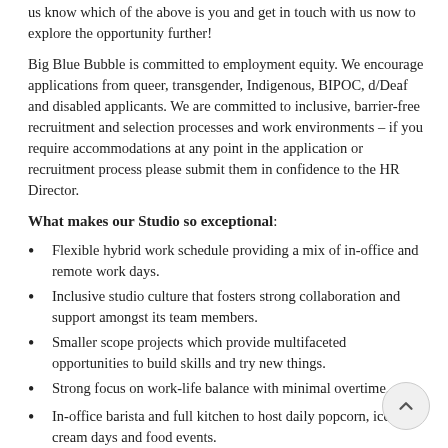us know which of the above is you and get in touch with us now to explore the opportunity further!
Big Blue Bubble is committed to employment equity. We encourage applications from queer, transgender, Indigenous, BIPOC, d/Deaf and disabled applicants. We are committed to inclusive, barrier-free recruitment and selection processes and work environments – if you require accommodations at any point in the application or recruitment process please submit them in confidence to the HR Director.
What makes our Studio so exceptional:
Flexible hybrid work schedule providing a mix of in-office and remote work days.
Inclusive studio culture that fosters strong collaboration and support amongst its team members.
Smaller scope projects which provide multifaceted opportunities to build skills and try new things.
Strong focus on work-life balance with minimal overtime.
In-office barista and full kitchen to host daily popcorn, ice cream days and food events.
Unique and frequent team-building and social events (pi day, office olympics, escape rooms, gaming tournaments, movie days and so much more).
Gaming consoles and other in-office equipment (arcade